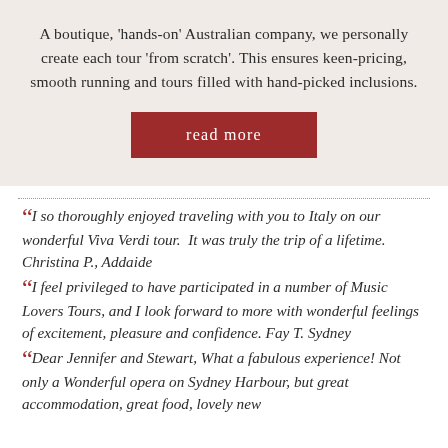A boutique, 'hands-on' Australian company, we personally create each tour 'from scratch'. This ensures keen-pricing, smooth running and tours filled with hand-picked inclusions.
read more
“I so thoroughly enjoyed traveling with you to Italy on our wonderful Viva Verdi tour. It was truly the trip of a lifetime. Christina P., Addaide
“I feel privileged to have participated in a number of Music Lovers Tours, and I look forward to more with wonderful feelings of excitement, pleasure and confidence. Fay T. Sydney
“Dear Jennifer and Stewart, What a fabulous experience! Not only a Wonderful opera on Sydney Harbour, but great accommodation, great food, lovely new